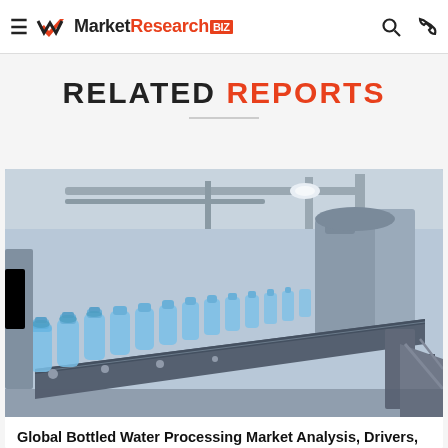MarketResearch.BIZ
RELATED REPORTS
[Figure (photo): Industrial bottled water processing plant: rows of blue-capped plastic water bottles on a conveyor belt system inside a large modern factory facility with metal piping and industrial equipment in background]
Global Bottled Water Processing Market Analysis, Drivers, Restraints, Opportunities,